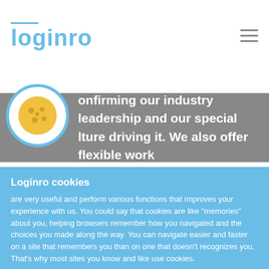loginro
onfirming our industry leadership and our special lture driving it. We also offer flexible work
[Figure (illustration): Cookie icon: blue circle outline with yellow cookie/biscuit inside]
Loginro cookies
are very useful and perform various functions that improves your experience with us. You could say that cookies are like "memories" about you, helping browsers remember how you navigated and the choices you made along the way. You can navigate easier and faster on a site that remembers you than on one that doesn't recognizes you. That's why most sites you know and like use cookies.
Settings    Privacy Policy    Cookie Policy
Accept all